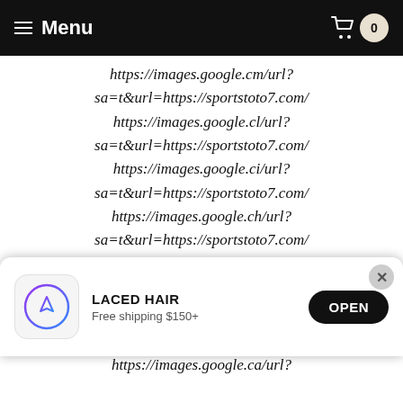Menu  0
https://images.google.cm/url?sa=t&url=https://sportstoto7.com/
https://images.google.cl/url?sa=t&url=https://sportstoto7.com/
https://images.google.ci/url?sa=t&url=https://sportstoto7.com/
https://images.google.ch/url?sa=t&url=https://sportstoto7.com/
https://images.google.cg/url?sa=t&url=https://sportstoto7.com/
https://images.google.cd/url?
[Figure (other): App install banner for LACED HAIR with App Store icon, text 'LACED HAIR / Free shipping $150+', and OPEN button]
https://images.google.ca/url?